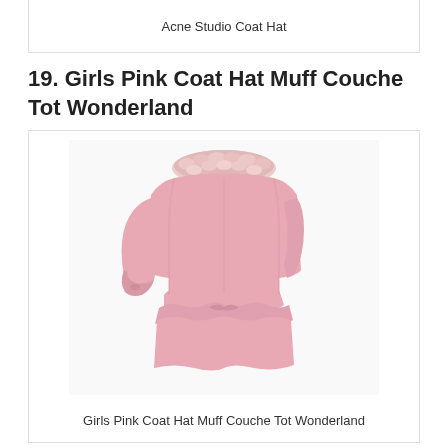Acne Studio Coat Hat
19. Girls Pink Coat Hat Muff Couche Tot Wonderland
[Figure (photo): Back view of a girls pink coat with faux fur collar and ruffle peplum hem detail]
Girls Pink Coat Hat Muff Couche Tot Wonderland